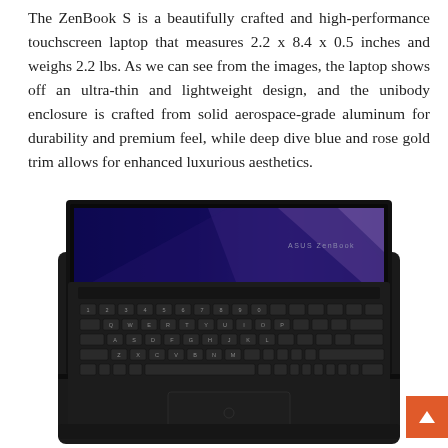The ZenBook S is a beautifully crafted and high-performance touchscreen laptop that measures 2.2 x 8.4 x 0.5 inches and weighs 2.2 lbs. As we can see from the images, the laptop shows off an ultra-thin and lightweight design, and the unibody enclosure is crafted from solid aerospace-grade aluminum for durability and premium feel, while deep dive blue and rose gold trim allows for enhanced luxurious aesthetics.
[Figure (photo): Photo of ASUS ZenBook S laptop open, showing keyboard and screen with deep blue color and ASUS ZenBook branding on screen]